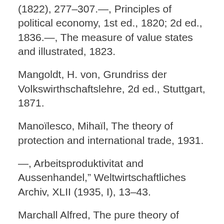(1822), 277–307.—, Principles of political economy, 1st ed., 1820; 2d ed., 1836.—, The measure of value states and illustrated, 1823.
Mangoldt, H. von, Grundriss der Volkswirthschaftslehre, 2d ed., Stuttgart, 1871.
Manoïlesco, Mihaïl, The theory of protection and international trade, 1931.
—, Arbeitsproduktivitat and Aussenhandel,” Weltwirtschaftliches Archiv, XLII (1935, I), 13–43.
Marchall Alfred, The pure theory of foreign trade, [1879], London School reprint, 1930.